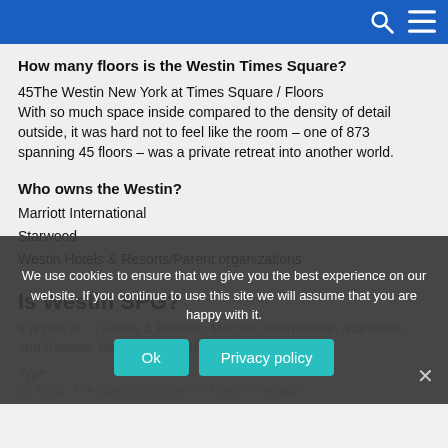How many floors is the Westin Times Square?
45The Westin New York at Times Square / Floors
With so much space inside compared to the density of detail outside, it was hard not to feel like the room – one of 873 spanning 45 floors – was a private retreat into another world.
Who owns the Westin?
Marriott International
Starwood
Westin Hotels & Resorts/Parent organizations
Is Westin SPG?
It was part of... Hotels and Resorts, Marriott International, Starwood...
Type
St. Regis The Luxury Collection W Hotels Sheraton
We use cookies to ensure that we give you the best experience on our website. If you continue to use this site we will assume that you are happy with it.